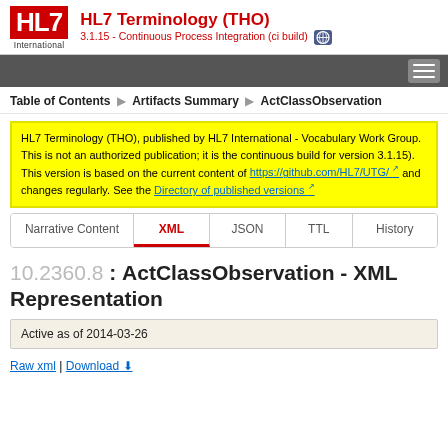HL7 Terminology (THO) - 3.1.15 - Continuous Process Integration (ci build)
Table of Contents > Artifacts Summary > ActClassObservation
HL7 Terminology (THO), published by HL7 International - Vocabulary Work Group. This is not an authorized publication; it is the continuous build for version 3.1.15). This version is based on the current content of https://github.com/HL7/UTG/ and changes regularly. See the Directory of published versions
Narrative Content | XML | JSON | TTL | History
10.2360.8 : ActClassObservation - XML Representation
Active as of 2014-03-26
Raw xml | Download